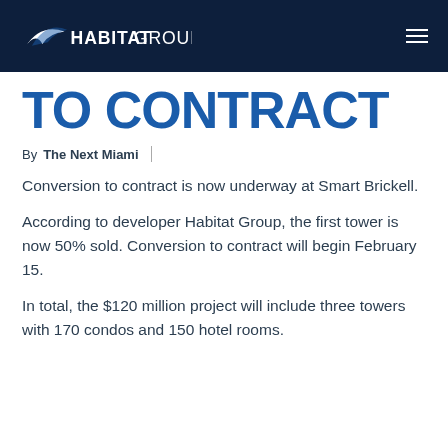HABITAT GROUP
TO CONTRACT
By The Next Miami
Conversion to contract is now underway at Smart Brickell.
According to developer Habitat Group, the first tower is now 50% sold. Conversion to contract will begin February 15.
In total, the $120 million project will include three towers with 170 condos and 150 hotel rooms.